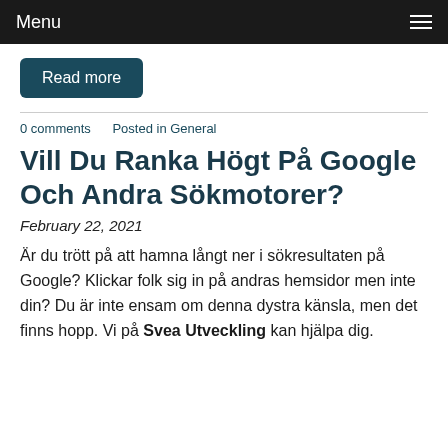Menu
Read more
0 comments   Posted in General
Vill Du Ranka Högt På Google Och Andra Sökmotorer?
February 22, 2021
Är du trött på att hamna långt ner i sökresultaten på Google? Klickar folk sig in på andras hemsidor men inte din? Du är inte ensam om denna dystra känsla, men det finns hopp. Vi på Svea Utveckling kan hjälpa dig.